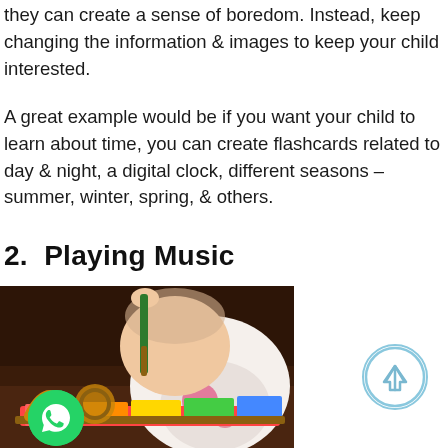they can create a sense of boredom. Instead, keep changing the information & images to keep your child interested.
A great example would be if you want your child to learn about time, you can create flashcards related to day & night, a digital clock, different seasons – summer, winter, spring, & others.
2.  Playing Music
[Figure (photo): Baby playing with a colorful xylophone toy on a wooden surface, reaching up with one hand]
[Figure (logo): WhatsApp green circular icon button]
[Figure (other): Light blue circular scroll-to-top button with upward arrow]